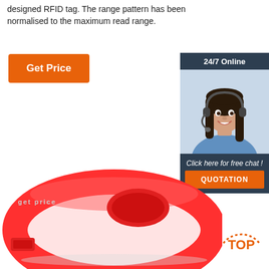designed RFID tag. The range pattern has been normalised to the maximum read range.
Get Price
[Figure (illustration): Customer service representative widget with '24/7 Online' header, photo of woman with headset, 'Click here for free chat!' text, and orange QUOTATION button]
[Figure (photo): Red silicone RFID wristband with oval-shaped RFID inlay area, photographed on white background]
[Figure (other): TOP badge with orange dotted arc and orange text]